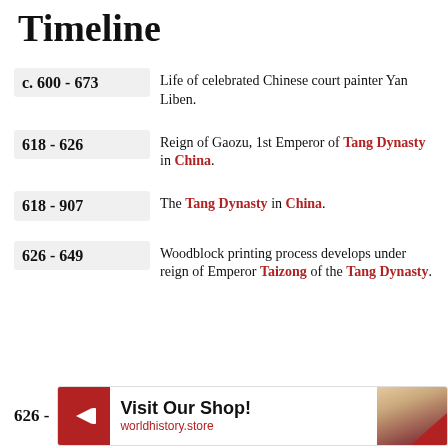Timeline
c. 600 - 673  Life of celebrated Chinese court painter Yan Liben.
618 - 626  Reign of Gaozu, 1st Emperor of Tang Dynasty in China.
618 - 907  The Tang Dynasty in China.
626 - 649  Woodblock printing process develops under reign of Emperor Taizong of the Tang Dynasty.
626 -  [Advertisement: Visit Our Shop! worldhistory.store]